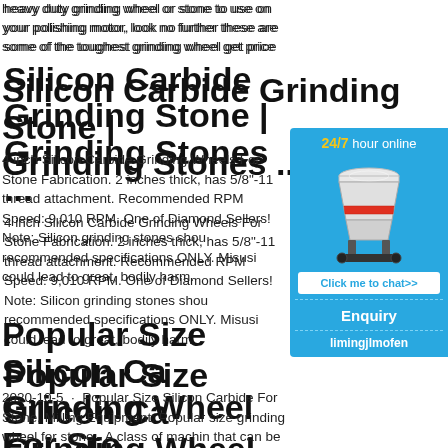heavy duty grinding wheel or stone to use on your polishing motor, look no further these are some of the toughest grinding wheel get price
Silicon Carbide Grinding Stone | Grinding Stones ...
4 inch Silicon Carbide Grinding Wheels For Stone Fabrication. 2 inches thick, has 5/8"-11 thread attachment. Recommended RPM Speed: 9,010 RPM. One of Diamond Sellers! Note: Silicon grinding stones should recommended specifications ONLY. Misusing could lead to great, bodily harm.
[Figure (other): Blue sidebar widget with '24/7 hour online' header in yellow and white text, an image of a cone crusher machine, a 'Click me to chat>>' button, an 'Enquiry' section, and 'limingjlmofen' username text.]
Popular Size Silicon Carbide Grinding Wheel For Stone ...
2020-10-5 · Popular Size Silicon Carbide Grinding Wheel For Stone. Milling Equipment: Popular size grinding wheel for stone - A class of machinery that can be used to meet the production requirements of coarse grinding, fine grinding and super fine...